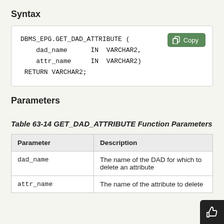Syntax
DBMS_EPG.GET_DAD_ATTRIBUTE (
    dad_name      IN  VARCHAR2,
    attr_name     IN  VARCHAR2)
 RETURN VARCHAR2;
Parameters
Table 63-14 GET_DAD_ATTRIBUTE Function Parameters
| Parameter | Description |
| --- | --- |
| dad_name | The name of the DAD for which to delete an attribute |
| attr_name | The name of the attribute to delete |